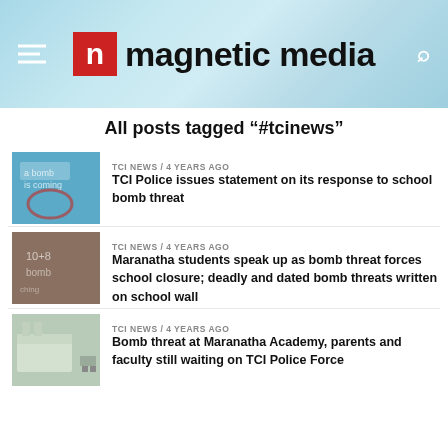magnetic media
All posts tagged "#tcinews"
TCI NEWS / 4 years ago
TCI Police issues statement on its response to school bomb threat
TCI NEWS / 4 years ago
Maranatha students speak up as bomb threat forces school closure; deadly and dated bomb threats written on school wall
TCI NEWS / 4 years ago
Bomb threat at Maranatha Academy, parents and faculty still waiting on TCI Police Force